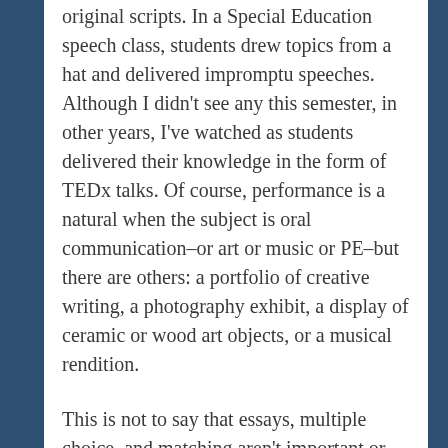original scripts. In a Special Education speech class, students drew topics from a hat and delivered impromptu speeches. Although I didn't see any this semester, in other years, I've watched as students delivered their knowledge in the form of TEDx talks. Of course, performance is a natural when the subject is oral communication–or art or music or PE–but there are others: a portfolio of creative writing, a photography exhibit, a display of ceramic or wood art objects, or a musical rendition.
This is not to say that essays, multiple choice, and matching aren't important or don't have their place. Many of the teachers who devised the alternate forms of assessment I've just described also had written tests. But the range of formats